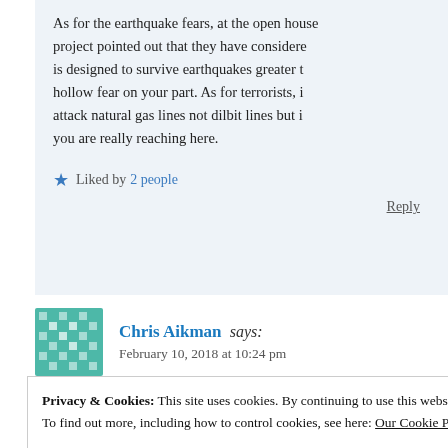As for the earthquake fears, at the open house project pointed out that they have considered… is designed to survive earthquakes greater t… hollow fear on your part. As for terrorists, i… attack natural gas lines not dilbit lines but i… you are really reaching here.
★ Liked by 2 people
Reply
Chris Aikman says: February 10, 2018 at 10:24 pm
Privacy & Cookies: This site uses cookies. By continuing to use this website, you agree to their use. To find out more, including how to control cookies, see here: Our Cookie Policy